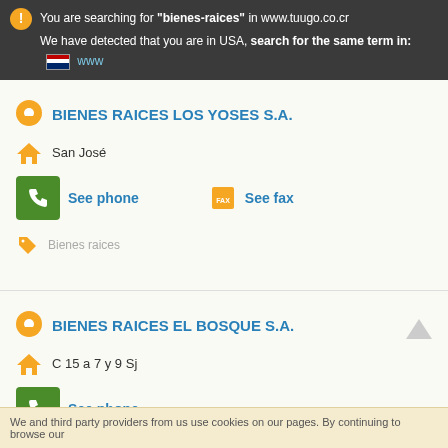You are searching for "bienes-raices" in www.tuugo.co.cr
We have detected that you are in USA, search for the same term in: www
BIENES RAICES LOS YOSES S.A.
San José
See phone
See fax
Bienes raices
BIENES RAICES EL BOSQUE S.A.
C 15 a 7 y 9 Sj
See phone
We and third party providers from us use cookies on our pages. By continuing to browse our